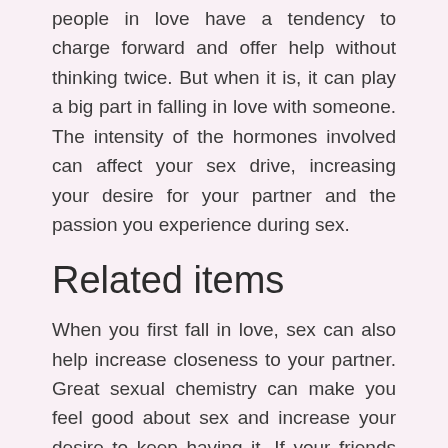people in love have a tendency to charge forward and offer help without thinking twice. But when it is, it can play a big part in falling in love with someone. The intensity of the hormones involved can affect your sex drive, increasing your desire for your partner and the passion you experience during sex.
Related items
When you first fall in love, sex can also help increase closeness to your partner. Great sexual chemistry can make you feel good about sex and increase your desire to keep having it. If your friends point things out, consider what they have to say. Love takes a lot of forms, and it can change over time. When you first fall in love, you might not only idealize your partner but also want